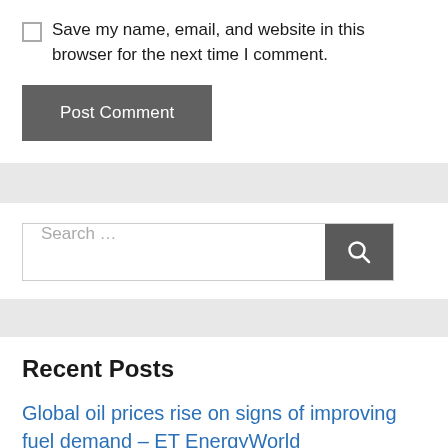Save my name, email, and website in this browser for the next time I comment.
Post Comment
Search …
Recent Posts
Global oil prices rise on signs of improving fuel demand – ET EnergyWorld